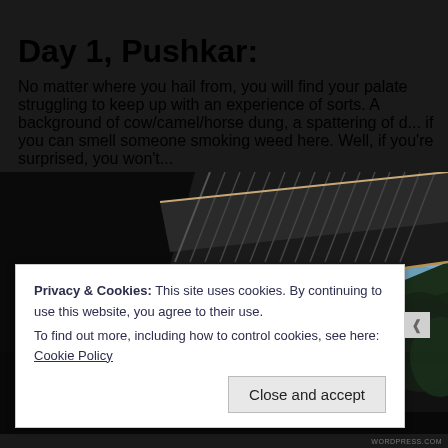Day 1, Pushkar:
No matter where you hail from, you will find your palate struggling to keep up with an experience of sorts. A background of cow/camel/horse dung, a spattering of d... if you can smell someone smoking weed here. Well, if you're surprised, you won't...
[Figure (photo): A dark photograph showing a large industrial or railway bridge/overpass structure taken from below at an angle, against a blue sky with some trees visible on the right side.]
Privacy & Cookies: This site uses cookies. By continuing to use this website, you agree to their use. To find out more, including how to control cookies, see here: Cookie Policy
Close and accept